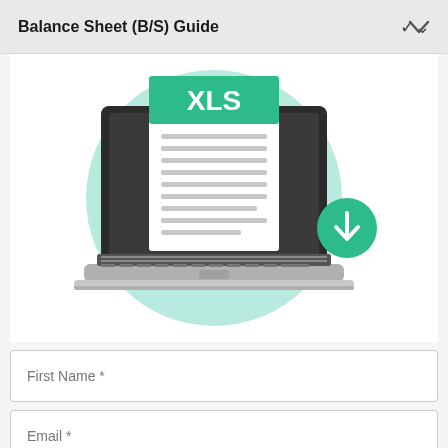Balance Sheet (B/S) Guide
[Figure (illustration): Illustration of a laptop computer with an XLS document displayed on screen, surrounded by a mint green circle. A green download button with a downward arrow is positioned to the right.]
First Name *
Email *